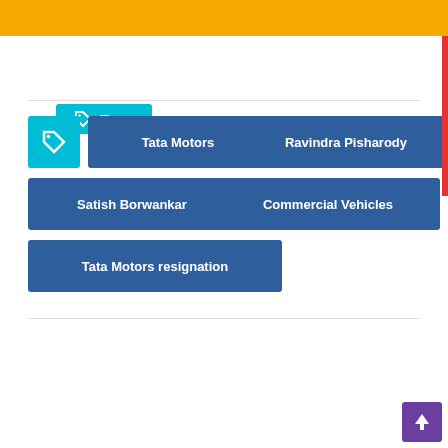Navigation header with hamburger menu and search icon
Tags
Tata Motors
Ravindra Pisharody
Satish Borwankar
Commercial Vehicles
Tata Motors resignation
Next | Previous | View All